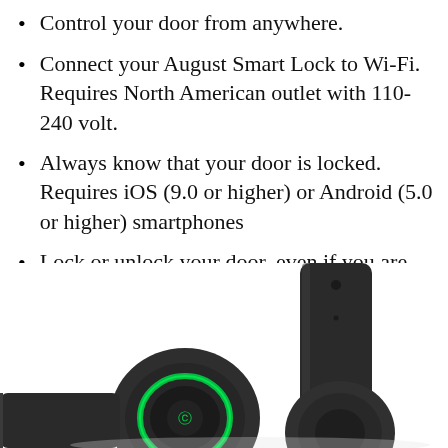Control your door from anywhere.
Connect your August Smart Lock to Wi-Fi. Requires North American outlet with 110-240 volt.
Always know that your door is locked. Requires iOS (9.0 or higher) or Android (5.0 or higher) smartphones
Lock or unlock your door, even if you are away from home.
Voice control. Connect your lock to Amazon Alexa, the Google Assistant or Siri.
[Figure (photo): Photo of August Smart Lock components: two black circular lock cylinders with green LED ring on one, and a black rectangular bridge/hub device, all against white background.]